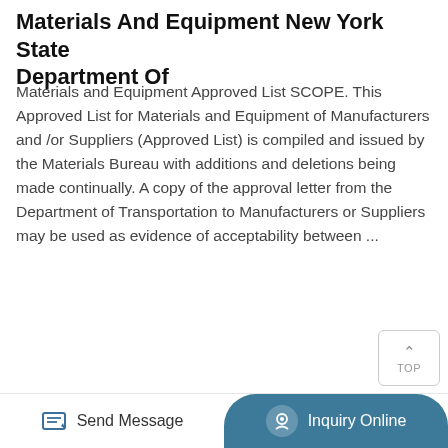Materials And Equipment New York State Department Of
Materials and Equipment Approved List SCOPE. This Approved List for Materials and Equipment of Manufacturers and /or Suppliers (Approved List) is compiled and issued by the Materials Bureau with additions and deletions being made continually. A copy of the approval letter from the Department of Transportation to Manufacturers or Suppliers may be used as evidence of acceptability between ...
Read More »
[Figure (photo): Industrial warehouse or facility interior showing large beige/tan cylindrical or rectangular structures, overhead metal framework and ducts, in a grayscale-toned photograph.]